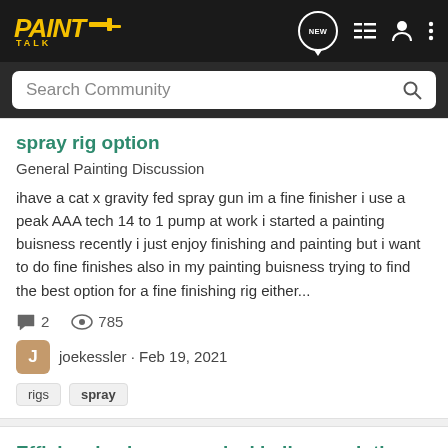PaintTalk - Search Community
spray rig option
General Painting Discussion
ihave a cat x gravity fed spray gun im a fine finisher i use a peak AAA tech 14 to 1 pump at work i started a painting buisness recently i just enjoy finishing and painting but i want to do fine finishes also in my painting buisness trying to find the best option for a fine finishing rig either...
2 replies, 785 views
joekessler · Feb 19, 2021
rigs
spray
Efficiencies in commerical hallway painting
General Painting Discussion